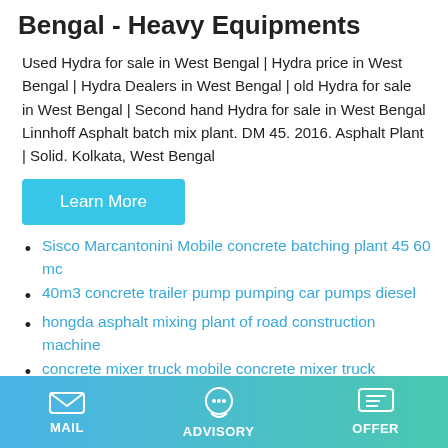Bengal - Heavy Equipments
Used Hydra for sale in West Bengal | Hydra price in West Bengal | Hydra Dealers in West Bengal | old Hydra for sale in West Bengal | Second hand Hydra for sale in West Bengal Linnhoff Asphalt batch mix plant. DM 45. 2016. Asphalt Plant | Solid. Kolkata, West Bengal
Learn More
Sisco Marcantonini Mobile concrete batching plant 45 60 mc
40m3 concrete trailer pump pumping car pumps diesel
hongda asphalt mixing plant of road construction machine
concrete mixer truck mobile concrete mixer truck hydraulic
asphalt plants market 2021 global industry analysis by
Be Cement Mixer Truck Construction Vehicle
MAIL   ADVISORY   OFFER